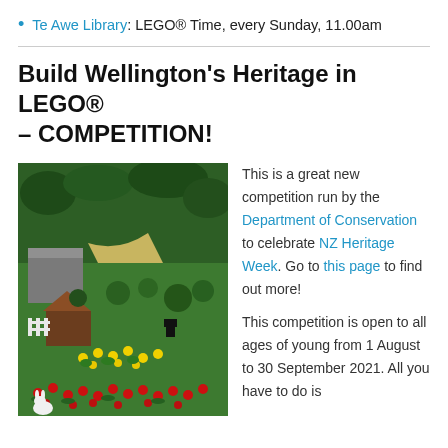Te Awe Library: LEGO® Time, every Sunday, 11.00am
Build Wellington's Heritage in LEGO® – COMPETITION!
[Figure (photo): Aerial view of a LEGO diorama scene depicting a green garden/park with trees, flowers (yellow, red), a small building, and a white rabbit figure.]
This is a great new competition run by the Department of Conservation to celebrate NZ Heritage Week. Go to this page to find out more!
This competition is open to all ages of young from 1 August to 30 September 2021. All you have to do is